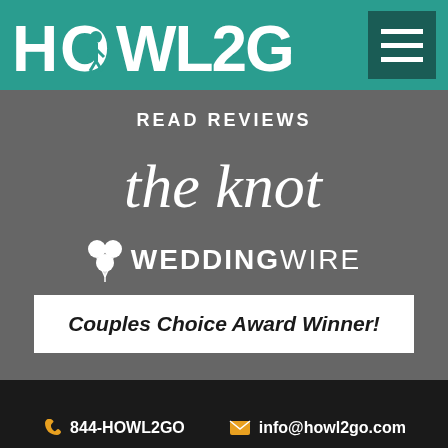HOWL2GO
READ REVIEWS
[Figure (logo): the knot logo in cursive white script]
[Figure (logo): WeddingWire logo with balloon icon in white]
Couples Choice Award Winner!
844-HOWL2GO   info@howl2go.com